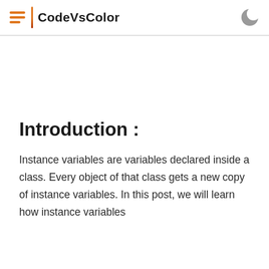CodeVsColor
Introduction :
Instance variables are variables declared inside a class. Every object of that class gets a new copy of instance variables. In this post, we will learn how instance variables